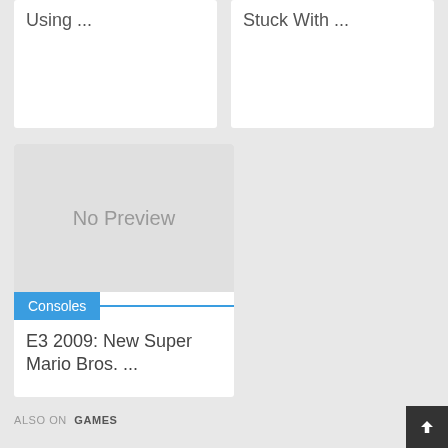Using ...
Stuck With ...
[Figure (other): No Preview placeholder image for article card]
Consoles
E3 2009: New Super Mario Bros. ...
ALSO ON GAMES